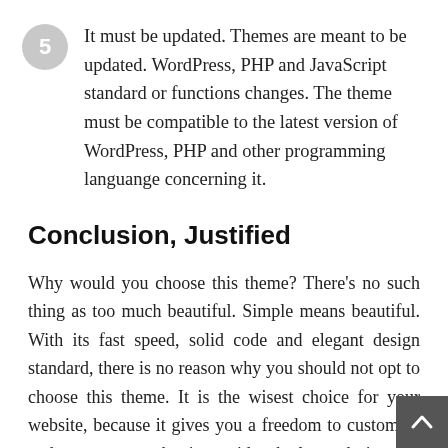It must be updated. Themes are meant to be updated. WordPress, PHP and JavaScript standard or functions changes. The theme must be compatible to the latest version of WordPress, PHP and other programming languange concerning it.
Conclusion, Justified
Why would you choose this theme? There's no such thing as too much beautiful. Simple means beautiful. With its fast speed, solid code and elegant design standard, there is no reason why you should not opt to choose this theme. It is the wisest choice for your website, because it gives you a freedom to customize and an assurance that it provides the latest design and code standard up-to-date. If you are interested to purchase this theme, buy it today and unleash